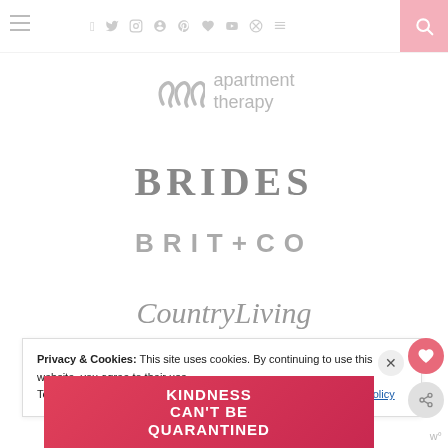Navigation bar with hamburger menu, social icons (facebook, twitter, instagram, pinterest, heart, youtube, rss), and search button
[Figure (logo): Apartment Therapy logo — wavy icon with text 'apartment therapy']
[Figure (logo): BRIDES logo in bold serif capitals]
[Figure (logo): BRIT+CO logo in bold sans-serif spaced capitals]
[Figure (logo): CountryLiving logo in italic serif font]
Privacy & Cookies: This site uses cookies. By continuing to use this website, you agree to their use.
To find out more, including how to control cookies, see here: Privacy Policy
[Figure (infographic): Pink advertisement banner with text: KINDNESS CAN'T BE QUARANTINED]